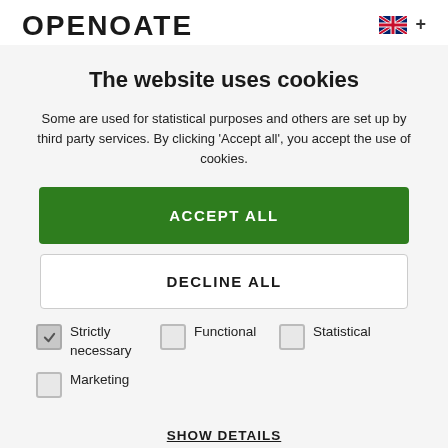OPENOATE
The website uses cookies
Some are used for statistical purposes and others are set up by third party services. By clicking 'Accept all', you accept the use of cookies.
ACCEPT ALL
DECLINE ALL
Strictly necessary
Functional
Statistical
Marketing
SHOW DETAILS